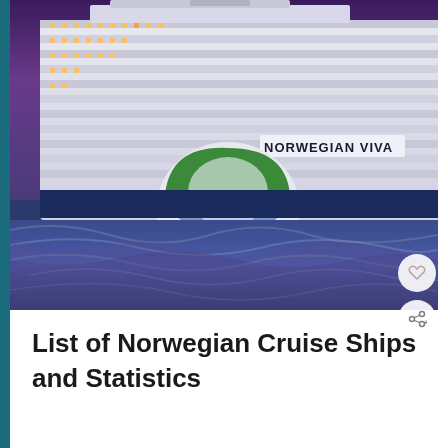[Figure (photo): Large cruise ship named 'Norwegian Viva' photographed at sea or port at dusk/night. The ship has multiple illuminated decks, the Norwegian Cruise Line logo (green, blue, white circular design) prominently displayed on the bow hull. The water shows swirling purple-blue wave patterns. The sky is deep purple.]
List of Norwegian Cruise Ships and Statistics